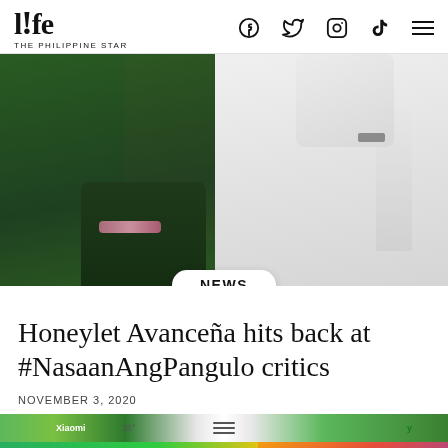l!fe THE PHILIPPINE STAR
[Figure (photo): Two people standing together — one wearing a green jacket on the left and one wearing a white barong on the right, with a red background visible between them.]
NEWS
Honeylet Avanceña hits back at #NasaanAngPangulo critics
NOVEMBER 3, 2020
[Figure (screenshot): Mobile browser toolbar/navigation bar with app icons and text including 'Xiaomi' and '26°']
[Figure (photo): Advertisement banner: 'Love this game Can't stop playing! Download Now' with Bubble Shooter Animal World game imagery on the right side and an X close button.]